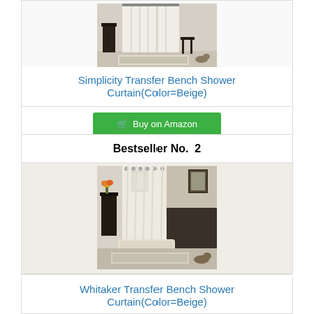[Figure (photo): Shower curtain product photo (top, partially visible)]
Simplicity Transfer Bench Shower Curtain(Color=Beige)
Buy on Amazon
Bestseller No. 2
[Figure (photo): Shower curtain product photo showing a hooked curtain in a bathroom setting]
Whitaker Transfer Bench Shower Curtain(Color=Beige)